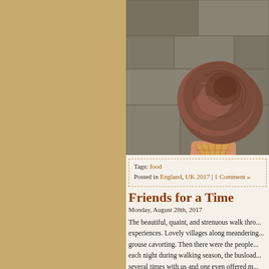[Figure (photo): Close-up photograph of a chocolate ice cream scoop on a waffle cone, with a stone wall background]
Tags: food
Posted in England, UK 2017 | 1 Comment »
Friends for a Time
Monday, August 28th, 2017
The beautiful, quaint, and strenuous walk thro... experiences. Lovely villages along meandering... grouse cavorting. Then there were the people... each night during walking season, the busload... several times with us and one even offered m... Spanish), the fellow walkers from Germany, T... some alongside for a mile or two or shared...